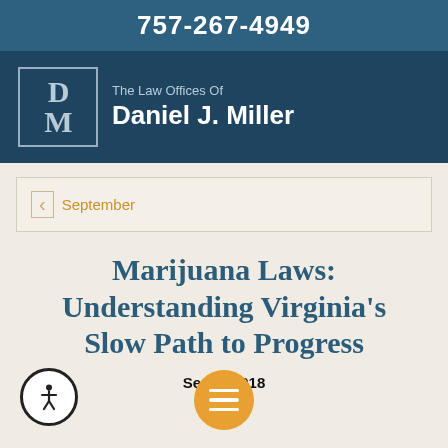757-267-4949
[Figure (logo): The Law Offices Of Daniel J. Miller logo with DM monogram in a bordered box on a dark blue background]
September
Marijuana Laws: Understanding Virginia's Slow Path to Progress
September [date], 2018